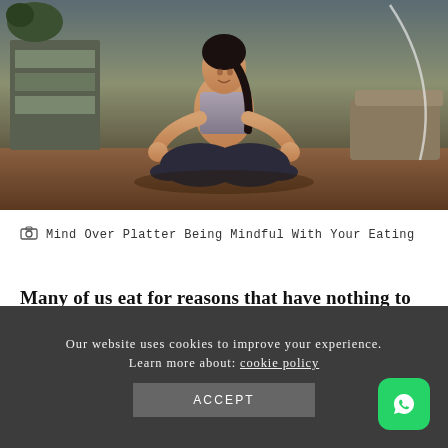[Figure (photo): Woman in athletic wear sitting cross-legged in a yoga meditation pose on a mat indoors, with bookshelves and furniture visible in the background.]
Mind Over Platter Being Mindful With Your Eating
Many of us eat for reasons that have nothing to do with good nutrition.
Our website uses cookies to improve your experience. Learn more about: cookie policy
ACCEPT